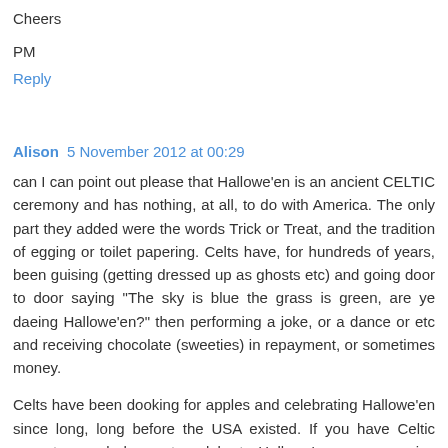Cheers
PM
Reply
Alison  5 November 2012 at 00:29
can I can point out please that Hallowe'en is an ancient CELTIC ceremony and has nothing, at all, to do with America. The only part they added were the words Trick or Treat, and the tradition of egging or toilet papering. Celts have, for hundreds of years, been guising (getting dressed up as ghosts etc) and going door to door saying "The sky is blue the grass is green, are ye daeing Hallowe'en?" then performing a joke, or a dance or etc and receiving chocolate (sweeties) in repayment, or sometimes money.
Celts have been dooking for apples and celebrating Hallowe'en since long, long before the USA existed. If you have Celtic ancestors and choose to celebrate Hallowe'en you can enjoy yourself safe in the knowledge that you are